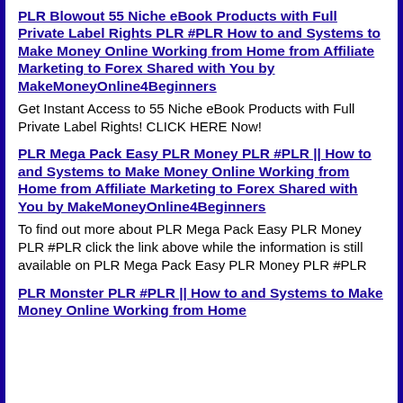PLR Blowout 55 Niche eBook Products with Full Private Label Rights PLR #PLR How to and Systems to Make Money Online Working from Home from Affiliate Marketing to Forex Shared with You by MakeMoneyOnline4Beginners
Get Instant Access to 55 Niche eBook Products with Full Private Label Rights! CLICK HERE Now!
PLR Mega Pack Easy PLR Money PLR #PLR || How to and Systems to Make Money Online Working from Home from Affiliate Marketing to Forex Shared with You by MakeMoneyOnline4Beginners
To find out more about PLR Mega Pack Easy PLR Money PLR #PLR click the link above while the information is still available on PLR Mega Pack Easy PLR Money PLR #PLR
PLR Monster PLR #PLR || How to and Systems to Make Money Online Working from Home